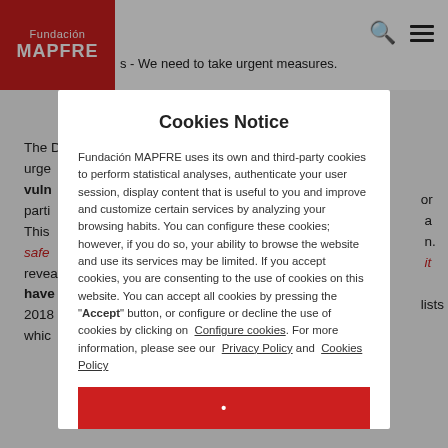Fundación MAPFRE
s - We need to take urgent measures.
Cookies Notice
Fundación MAPFRE uses its own and third-party cookies to perform statistical analyses, authenticate your user session, display content that is useful to you and improve and customize certain services by analyzing your browsing habits. You can configure these cookies; however, if you do so, your ability to browse the website and use its services may be limited. If you accept cookies, you are consenting to the use of cookies on this website. You can accept all cookies by pressing the "Accept" button, or configure or decline the use of cookies by clicking on  Configure cookies. For more information, please see our  Privacy Policy and  Cookies Policy